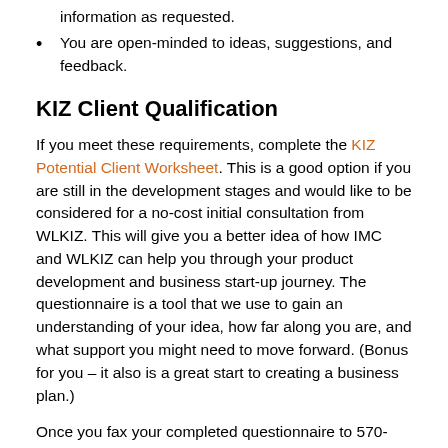information as requested.
You are open-minded to ideas, suggestions, and feedback.
KIZ Client Qualification
If you meet these requirements, complete the KIZ Potential Client Worksheet. This is a good option if you are still in the development stages and would like to be considered for a no-cost initial consultation from WLKIZ. This will give you a better idea of how IMC and WLKIZ can help you through your product development and business start-up journey. The questionnaire is a tool that we use to gain an understanding of your idea, how far along you are, and what support you might need to move forward. (Bonus for you – it also is a great start to creating a business plan.)
Once you fax your completed questionnaire to 570-329-1440 or email to info@wlkiz.com, we will review and evaluate for WLKIZ qualification.